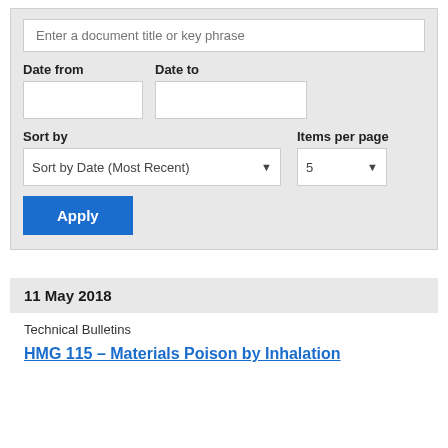Enter a document title or key phrase
Date from
Date to
Sort by
Items per page
Sort by Date (Most Recent)
5
Apply
11 May 2018
Technical Bulletins
HMG 115 – Materials Poison by Inhalation